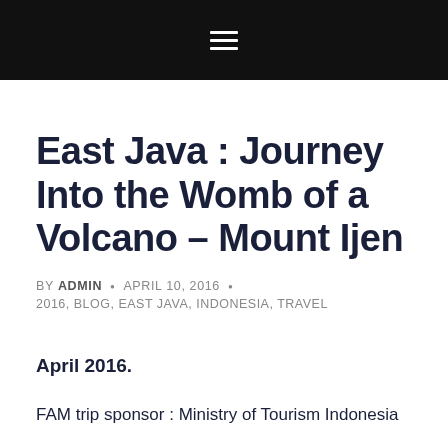☰ (hamburger menu icon)
East Java : Journey Into the Womb of a Volcano – Mount Ijen
BY ADMIN · APRIL 10, 2016 · 2016, BLOG, EAST JAVA, INDONESIA, TRAVEL
April 2016.
FAM trip sponsor : Ministry of Tourism Indonesia